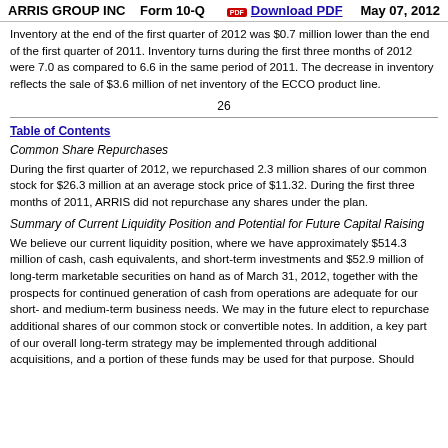ARRIS GROUP INC   Form 10-Q   Download PDF   May 07, 2012
Inventory at the end of the first quarter of 2012 was $0.7 million lower than the end of the first quarter of 2011. Inventory turns during the first three months of 2012 were 7.0 as compared to 6.6 in the same period of 2011. The decrease in inventory reflects the sale of $3.6 million of net inventory of the ECCO product line.
26
Table of Contents
Common Share Repurchases
During the first quarter of 2012, we repurchased 2.3 million shares of our common stock for $26.3 million at an average stock price of $11.32. During the first three months of 2011, ARRIS did not repurchase any shares under the plan.
Summary of Current Liquidity Position and Potential for Future Capital Raising
We believe our current liquidity position, where we have approximately $514.3 million of cash, cash equivalents, and short-term investments and $52.9 million of long-term marketable securities on hand as of March 31, 2012, together with the prospects for continued generation of cash from operations are adequate for our short- and medium-term business needs. We may in the future elect to repurchase additional shares of our common stock or convertible notes. In addition, a key part of our overall long-term strategy may be implemented through additional acquisitions, and a portion of these funds may be used for that purpose. Should